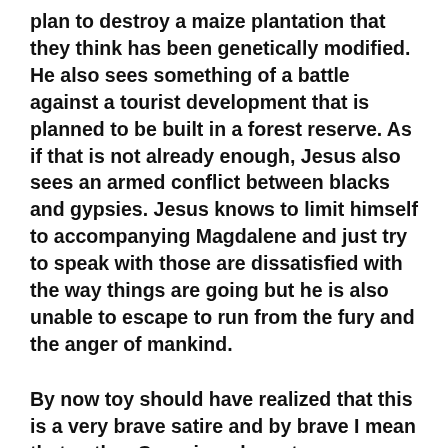plan to destroy a maize plantation that they think has been genetically modified. He also sees something of a battle against a tourist development that is planned to be built in a forest reserve. As if that is not already enough, Jesus also sees an armed conflict between blacks and gypsies. Jesus knows to limit himself to accompanying Magdalene and just try to speak with those are dissatisfied with the way things are going but he is also unable to escape to run from the fury and the anger of mankind.
By now toy should have realized that this is a very brave satire and by brave I mean that author Cerquiera dares to use religious iconic figures as characters in his novel. This is the first thing that I have read by him but I did a little research and discovered that he is at home writing satire and through his novels he satirizes modern society through the use of irreverent humour and...